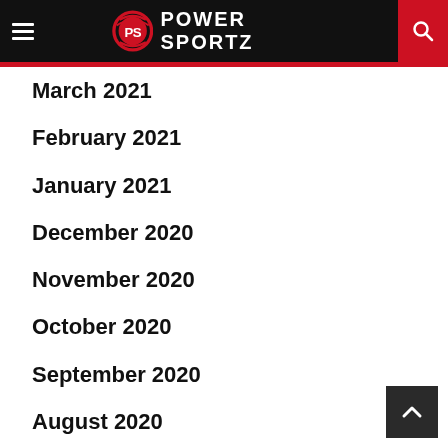PS POWER SPORTZ
March 2021
February 2021
January 2021
December 2020
November 2020
October 2020
September 2020
August 2020
July 2020
June 2020
May 2020
April 2020
March 2020
February 2020